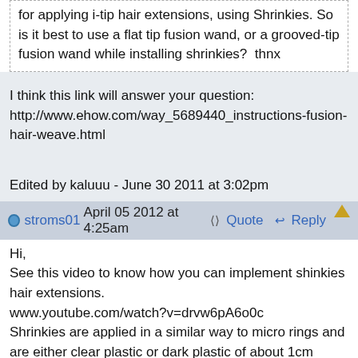for applying i-tip hair extensions, using Shrinkies. So is it best to use a flat tip fusion wand, or a grooved-tip fusion wand while installing shrinkies?  thnx
I think this link will answer your question:
http://www.ehow.com/way_5689440_instructions-fusion-hair-weave.html
Edited by kaluuu - June 30 2011 at 3:02pm
stroms01  April 05 2012 at 4:25am   Quote   Reply
Hi,
See this video to know how you can implement shinkies hair extensions.
www.youtube.com/watch?v=drvw6pA6o0c
Shrinkies are applied in a similar way to micro rings and are either clear plastic or dark plastic of about 1cm length. Heat is